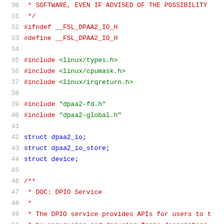Source code listing lines 30-51, C header file with preprocessor directives, includes, struct declarations, and kernel doc comment start
30:  * SOFTWARE, EVEN IF ADVISED OF THE POSSIBILITY
31:  */
32: #ifndef __FSL_DPAA2_IO_H
33: #define __FSL_DPAA2_IO_H
34: (blank)
35: #include <linux/types.h>
36: #include <linux/cpumask.h>
37: #include <linux/irqreturn.h>
38: (blank)
39: #include "dpaa2-fd.h"
40: #include "dpaa2-global.h"
41: (blank)
42: struct dpaa2_io;
43: struct dpaa2_io_store;
44: struct device;
45: (blank)
46: /**
47:  * DOC: DPIO Service
48:  *
49:  * The DPIO service provides APIs for users to t
50:  * by enqueueing and dequeing frame descriptors
51:  *